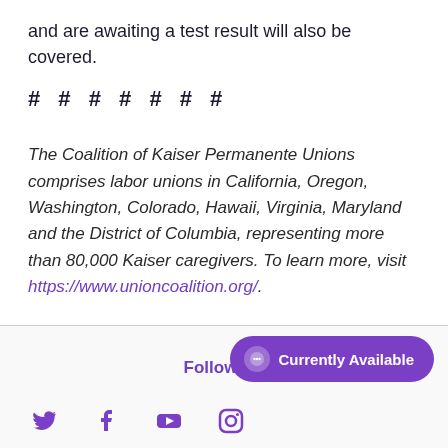and are awaiting a test result will also be covered.
# # # # # # #
The Coalition of Kaiser Permanente Unions comprises labor unions in California, Oregon, Washington, Colorado, Hawaii, Virginia, Maryland and the District of Columbia, representing more than 80,000 Kaiser caregivers. To learn more, visit https://www.unioncoalition.org/.
Follow Us | Currently Available chat button | Social media icons (Twitter, Facebook, YouTube, Instagram)